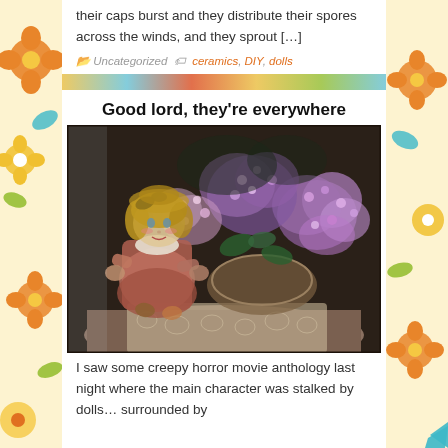their caps burst and they distribute their spores across the winds, and they sprout […]
Uncategorized  ceramics, DIY, dolls
Good lord, they're everywhere
[Figure (photo): A painting of a porcelain doll with golden curly hair and pink dress, sitting next to a large basket of purple lilacs/flowers on a table with lace cloth, painted in impressionist style on dark background.]
I saw some creepy horror movie anthology last night where the main character was stalked by dolls… surrounded by